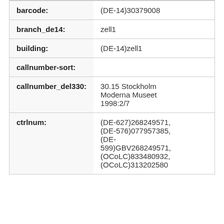| Field | Value |
| --- | --- |
| barcode: | (DE-14)30379008 |
| branch_de14: | zell1 |
| building: | (DE-14)zell1 |
| callnumber-sort: |  |
| callnumber_del330: | 30.15 Stockholm
Moderna Museet
1998:2/7 |
| ctrlnum: | (DE-627)268249571,
(DE-576)077957385,
(DE-599)GBV268249571,
(OCoLC)833480932,
(OCoLC)313202580 |